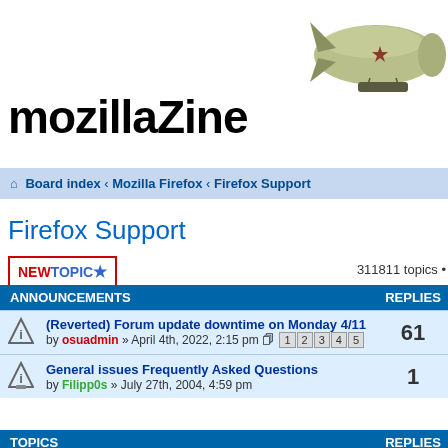mozillaZine
[Figure (illustration): Cartoon blimp/zeppelin with a star on its side, olive/khaki colored]
Board index « Mozilla Firefox « Firefox Support
Firefox Support
NEWTOPIC★  311811 topics •
| ANNOUNCEMENTS | REPLIES |
| --- | --- |
| (Reverted) Forum update downtime on Monday 4/11
by osuadmin » April 4th, 2022, 2:15 pm  [1][2][3][4][5] | 61 |
| General issues Frequently Asked Questions
by Filipp0s » July 27th, 2004, 4:59 pm | 1 |
| TOPICS | REPLIES |
| --- | --- |
| How To Customise Firefox 57+ UI with userChrome.css
by Frank Lion » January 29th, 2018, 2:15 pm | 0 |
| Using Google Search Through the Forums
by Dartman » June 22nd, 2007, 7:27 pm | 0 |
| Increase number of items in History menu bar |  |